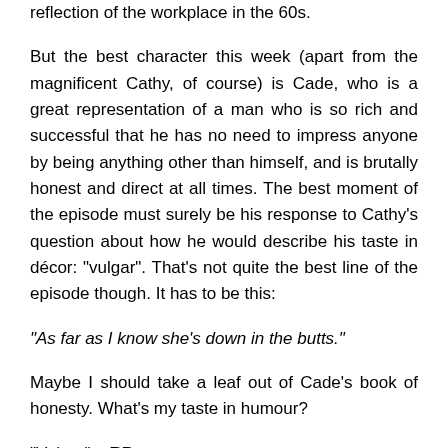reflection of the workplace in the 60s.
But the best character this week (apart from the magnificent Cathy, of course) is Cade, who is a great representation of a man who is so rich and successful that he has no need to impress anyone by being anything other than himself, and is brutally honest and direct at all times. The best moment of the episode must surely be his response to Cathy’s question about how he would describe his taste in décor: “vulgar”. That’s not quite the best line of the episode though. It has to be this:
“As far as I know she’s down in the butts.”
Maybe I should take a leaf out of Cade’s book of honesty. What’s my taste in humour?
“Vulgar”.   RP